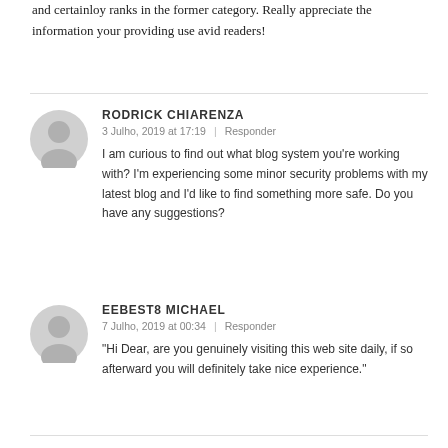and certainloy ranks in the former category. Really appreciate the information your providing use avid readers!
RODRICK CHIARENZA
3 Julho, 2019 at 17:19  |  Responder
I am curious to find out what blog system you're working with? I'm experiencing some minor security problems with my latest blog and I'd like to find something more safe. Do you have any suggestions?
EEBEST8 MICHAEL
7 Julho, 2019 at 00:34  |  Responder
"Hi Dear, are you genuinely visiting this web site daily, if so afterward you will definitely take nice experience."